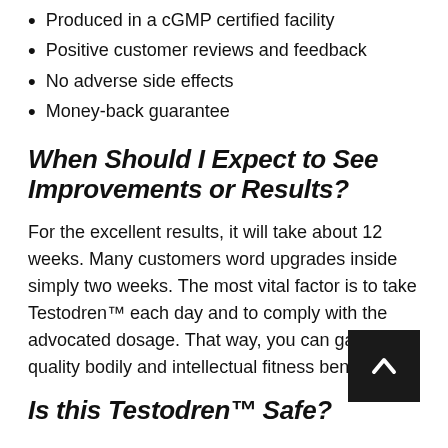Produced in a cGMP certified facility
Positive customer reviews and feedback
No adverse side effects
Money-back guarantee
When Should I Expect to See Improvements or Results?
For the excellent results, it will take about 12 weeks. Many customers word upgrades inside simply two weeks. The most vital factor is to take Testodren™ each day and to comply with the advocated dosage. That way, you can gain the quality bodily and intellectual fitness benefits.
Is this Testodren™ Safe?